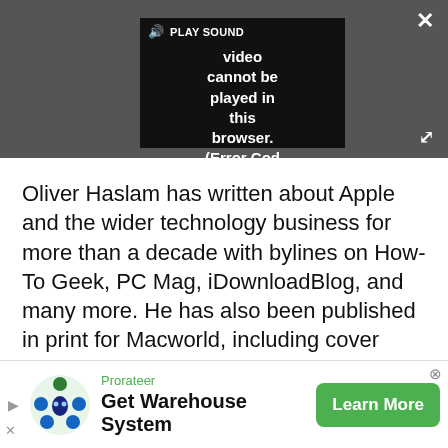[Figure (screenshot): Video player showing error: 'Video cannot be played in this browser. (Error Cod' with a PLAY SOUND button, close (X) button, and expand arrows on a dark gray background.]
Oliver Haslam has written about Apple and the wider technology business for more than a decade with bylines on How-To Geek, PC Mag, iDownloadBlog, and many more. He has also been published in print for Macworld, including cover stories. At iMore, Oliver is involved in daily news coverage and, not being short of opinions, has been known to 'explain' those thoughts in more detail, too.
[Figure (infographic): Advertisement banner for Prorateer: 'Get Warehouse System' with green Learn More button and logo.]